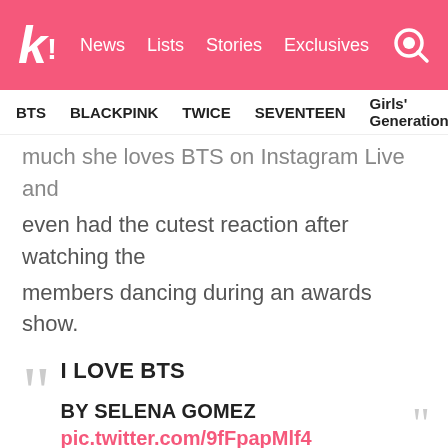k! News  Lists  Stories  Exclusives
BTS  BLACKPINK  TWICE  SEVENTEEN  Girls' Generation
much she loves BTS on Instagram Live and even had the cutest reaction after watching the members dancing during an awards show.
I LOVE BTS

BY SELENA GOMEZ
pic.twitter.com/9fFpapMlf4

— valeria stephania (@jiminsmiracle) August 22, 2021
The BTS members have also shown that they